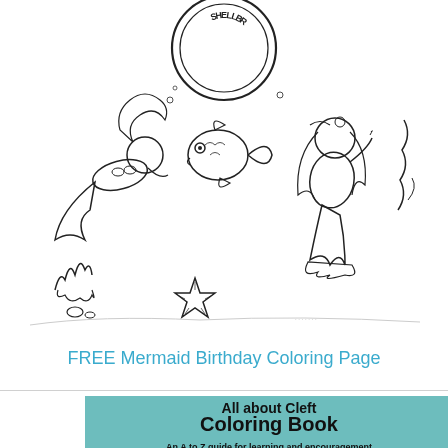[Figure (illustration): Black and white coloring page illustration of mermaids, a fish, starfish, coral, and seaweed underwater scene with text reading 'Shellbro' in a circular badge]
FREE Mermaid Birthday Coloring Page
[Figure (illustration): Teal/mint colored book cover showing 'All about Cleft Coloring Book' with subtitle 'An A to Z guide for learning and encouragement for kids with cleft lips and palates.' and showing sample coloring pages including 'T is for therapists' and 'N' pages with illustrated children and activities]